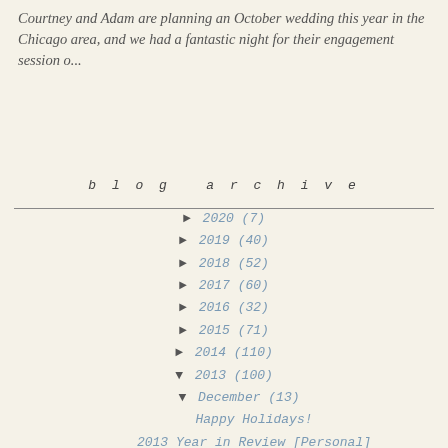Courtney and Adam are planning an October wedding this year in the Chicago area, and we had a fantastic night for their engagement session o...
blog archive
► 2020 (7)
► 2019 (40)
► 2018 (52)
► 2017 (60)
► 2016 (32)
► 2015 (71)
► 2014 (110)
▼ 2013 (100)
▼ December (13)
Happy Holidays!
2013 Year in Review [Personal]
New for 2014: Styling by Coelle